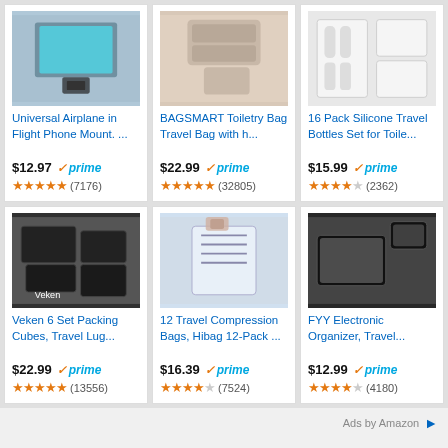[Figure (photo): Universal Airplane in Flight Phone Mount product photo - phone mounted on airplane tray]
Universal Airplane in Flight Phone Mount. ...
$12.97 prime
★★★★★ (7176)
[Figure (photo): BAGSMART Toiletry Bag Travel Bag product photo - beige/pink travel bag]
BAGSMART Toiletry Bag Travel Bag with h...
$22.99 prime
★★★★★ (32805)
[Figure (photo): 16 Pack Silicone Travel Bottles Set product photo - clear plastic containers]
16 Pack Silicone Travel Bottles Set for Toile...
$15.99 prime
★★★★½ (2362)
[Figure (photo): Veken 6 Set Packing Cubes product photo - black packing cubes]
Veken 6 Set Packing Cubes, Travel Lug...
$22.99 prime
★★★★★ (13556)
[Figure (photo): 12 Travel Compression Bags product photo - person holding clear compression bags]
12 Travel Compression Bags, Hibag 12-Pack ...
$16.39 prime
★★★★½ (7524)
[Figure (photo): FYY Electronic Organizer product photo - black case open showing contents]
FYY Electronic Organizer, Travel...
$12.99 prime
★★★★½ (4180)
Ads by Amazon